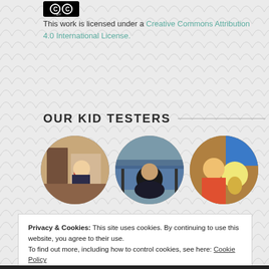[Figure (logo): Creative Commons CC BY logo badge]
This work is licensed under a Creative Commons Attribution 4.0 International License.
OUR KID TESTERS
[Figure (photo): Circular photo of a young child holding a red stick/mop in an indoor room setting]
[Figure (photo): Circular photo of a teenager in a black hoodie with glasses near water/railing]
[Figure (photo): Circular photo of a child eating an ice cream cone held in hand, wearing blue shirt]
Privacy & Cookies: This site uses cookies. By continuing to use this website, you agree to their use.
To find out more, including how to control cookies, see here: Cookie Policy
Close and accept